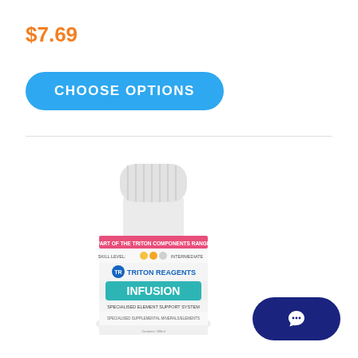$7.69
CHOOSE OPTIONS
[Figure (photo): A small white plastic bottle of Triton Reagents Infusion Specialised Element Support System, 100ml, with a white ribbed cap and a label featuring a pink banner reading 'PART OF THE TRITON COMPONENTS RANGE', colored dot skill level indicators, and a turquoise 'INFUSION' label box.]
[Figure (illustration): Dark navy blue pill-shaped chat/message button with a white speech bubble icon in the center, positioned bottom right.]